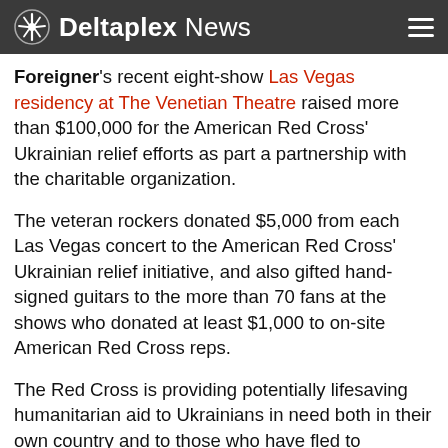Deltaplex News
Foreigner's recent eight-show Las Vegas residency at The Venetian Theatre raised more than $100,000 for the American Red Cross' Ukrainian relief efforts as part a partnership with the charitable organization.
The veteran rockers donated $5,000 from each Las Vegas concert to the American Red Cross' Ukrainian relief initiative, and also gifted hand-signed guitars to the more than 70 fans at the shows who donated at least $1,000 to on-site American Red Cross reps.
The Red Cross is providing potentially lifesaving humanitarian aid to Ukrainians in need both in their own country and to those who have fled to neighboring countries during the current Russian military invasion. International crisis responders have been deployed by the organization to Poland, Moldova, Hungary and Romania to provide relief.
To date, more than three million people have fled…